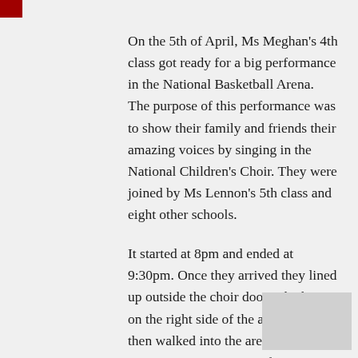On the 5th of April, Ms Meghan's 4th class got ready for a big performance in the National Basketball Arena. The purpose of this performance was to show their family and friends their amazing voices by singing in the National Children's Choir. They were joined by Ms Lennon's 5th class and eight other schools.
It started at 8pm and ended at 9:30pm. Once they arrived they lined up outside the choir door, which was on the right side of the arena. They then walked into the arena and took centre stage. It was time for a once in a lifetime event! They sang their hearts out. While they were singing, they were not allowed to